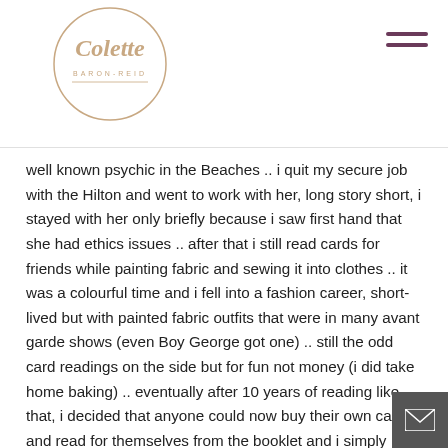Colette Baron-Reid
well known psychic in the Beaches .. i quit my secure job with the Hilton and went to work with her, long story short, i stayed with her only briefly because i saw first hand that she had ethics issues .. after that i still read cards for friends while painting fabric and sewing it into clothes .. it was a colourful time and i fell into a fashion career, short-lived but with painted fabric outfits that were in many avant garde shows (even Boy George got one) .. still the odd card readings on the side but for fun not money (i did take home baking) .. eventually after 10 years of reading like that, i decided that anyone could now buy their own cards and read for themselves from the booklet and i simply stopped .. my spiritual life continued but in other ways .. now all these years later i found myself using colour on little paintings, which became portals for messages which i began doing, then i